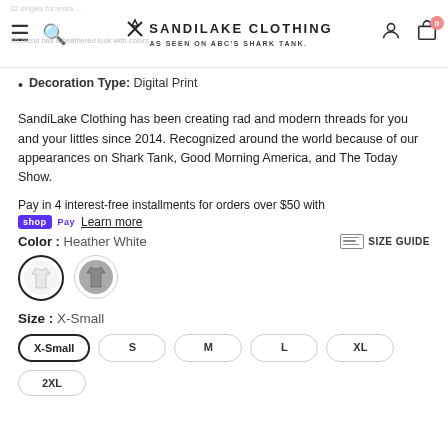Sandilake Clothing - As Seen on ABC's Shark Tank
Decoration Type: Digital Print
SandiLake Clothing has been creating rad and modern threads for you and your littles since 2014. Recognized around the world because of our appearances on Shark Tank, Good Morning America, and The Today Show.
Pay in 4 interest-free installments for orders over $50 with shop Pay  Learn more
Color : Heather White
[Figure (other): Two clothing color swatches: white tank top (selected, outlined) and gray tank top]
Size : X-Small
Size buttons: X-Small (selected), S, M, L, XL, 2XL